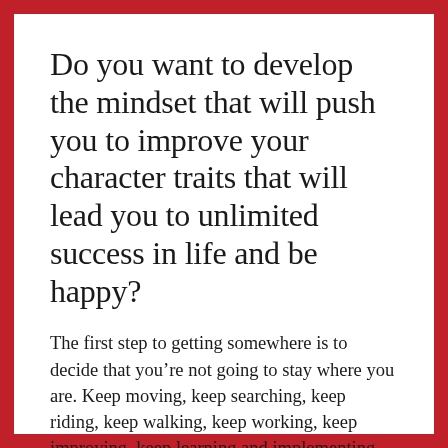Do you want to develop the mindset that will push you to improve your character traits that will lead you to unlimited success in life and be happy?
The first step to getting somewhere is to decide that you’re not going to stay where you are. Keep moving, keep searching, keep riding, keep walking, keep working, keep improving, keep learning and implementing, stretch yourself to new heights, there’s no limit to how high you can go.